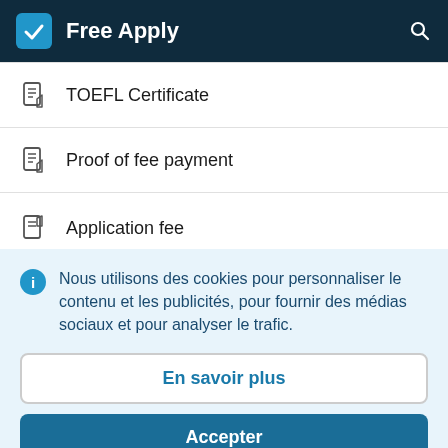Free Apply
TOEFL Certificate
Proof of fee payment
Application fee
Nous utilisons des cookies pour personnaliser le contenu et les publicités, pour fournir des médias sociaux et pour analyser le trafic.
En savoir plus
Accepter